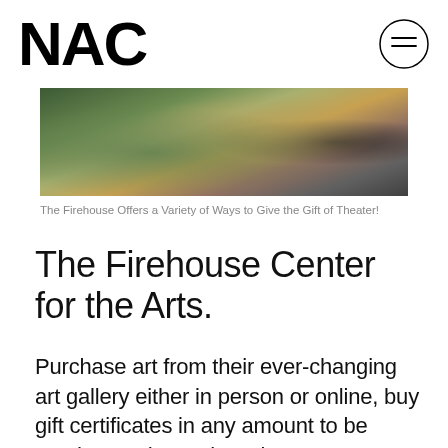NAC
[Figure (photo): Interior gallery photo showing colorful abstract artwork hanging on walls in a dimly lit exhibition space]
The Firehouse Offers a Variety of Ways to Give the Gift of Theater!
The Firehouse Center for the Arts.
Purchase art from their ever-changing art gallery either in person or online, buy gift certificates in any amount to be used toward any show, buy a membership for someone special, or simply wrap up a pair of tickets to one of their delightful musicals coming up in 2022 including; Once, The